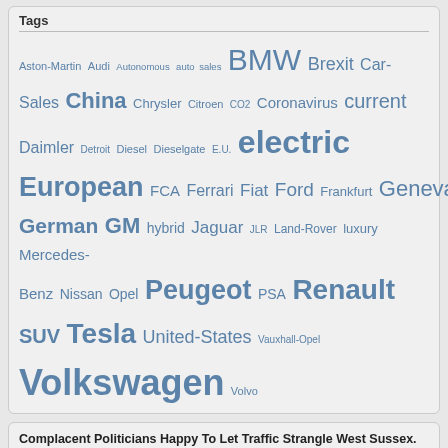Tags
Aston-Martin Audi Autonomous auto sales BMW Brexit Car-Sales China Chrysler Citroen CO2 Coronavirus current Daimler Detroit Diesel Dieselgate E.U. electric European FCA Ferrari Fiat Ford Frankfurt Geneva German GM hybrid Jaguar JLR Land-Rover luxury Mercedes-Benz Nissan Opel Peugeot PSA Renault SUV Tesla United-States Vauxhall-Opel Volkswagen Volvo
Complacent Politicians Happy To Let Traffic Strangle West Sussex.
[Figure (photo): A busy UK motorway scene with multiple lanes of traffic including lorries, cars, and vans in motion, with green central reservation and tarmac road surface.]